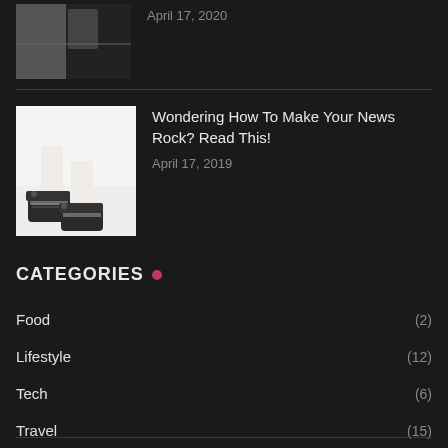[Figure (photo): Partial view of top article with thumbnail and date April 17, 2020]
April 17, 2020
[Figure (photo): Photo of person's feet wearing dark Converse sneakers on white background]
Wondering How To Make Your News Rock? Read This!
April 17, 2019
CATEGORIES
Food (2)
Lifestyle (12)
Tech (6)
Travel (15)